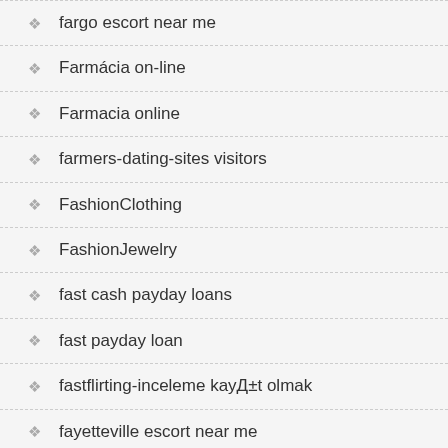fargo escort near me
Farmácia on-line
Farmacia online
farmers-dating-sites visitors
FashionClothing
FashionJewelry
fast cash payday loans
fast payday loan
fastflirting-inceleme kayД±t olmak
fayetteville escort near me